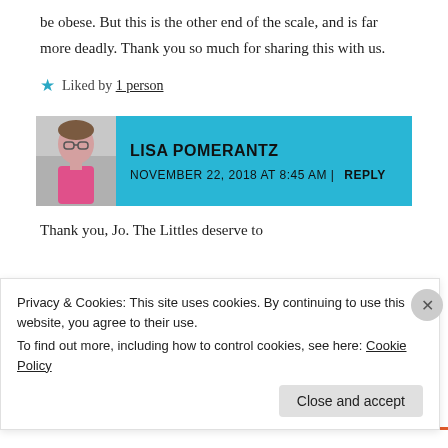be obese. But this is the other end of the scale, and is far more deadly. Thank you so much for sharing this with us.
★ Liked by 1 person
LISA POMERANTZ
NOVEMBER 22, 2018 AT 8:45 AM | REPLY
Thank you, Jo. The Littles deserve to
Privacy & Cookies: This site uses cookies. By continuing to use this website, you agree to their use.
To find out more, including how to control cookies, see here: Cookie Policy
Close and accept